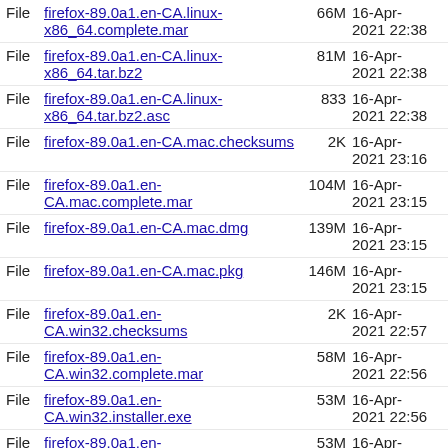File firefox-89.0a1.en-CA.linux-x86_64.complete.mar 66M 16-Apr-2021 22:38
File firefox-89.0a1.en-CA.linux-x86_64.tar.bz2 81M 16-Apr-2021 22:38
File firefox-89.0a1.en-CA.linux-x86_64.tar.bz2.asc 833 16-Apr-2021 22:38
File firefox-89.0a1.en-CA.mac.checksums 2K 16-Apr-2021 23:16
File firefox-89.0a1.en-CA.mac.complete.mar 104M 16-Apr-2021 23:15
File firefox-89.0a1.en-CA.mac.dmg 139M 16-Apr-2021 23:15
File firefox-89.0a1.en-CA.mac.pkg 146M 16-Apr-2021 23:15
File firefox-89.0a1.en-CA.win32.checksums 2K 16-Apr-2021 22:57
File firefox-89.0a1.en-CA.win32.complete.mar 58M 16-Apr-2021 22:56
File firefox-89.0a1.en-CA.win32.installer.exe 53M 16-Apr-2021 22:56
File firefox-89.0a1.en-CA.win32.installer.msi 53M 16-Apr-2021 22:56
File firefox-89.0a1.en-CA.win32.zip 78M 16-Apr-